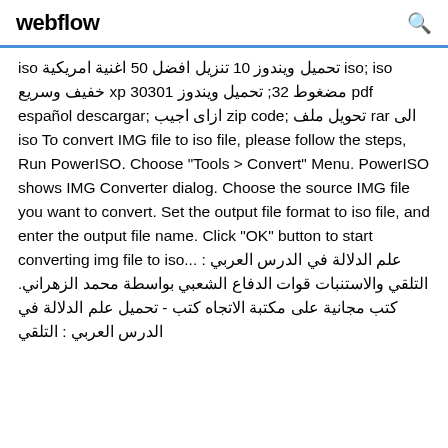webflow
iso تحميل ويندوز 10 تنزيل افضل 50 اغنية امريكية iso; iso خفيف وسريع xp مضغوط 32; تحميل ويندوز 30301 pdf español descargar; ازاى اجيب zip code; تحويل ملف rar الى iso To convert IMG file to iso file, please follow the steps, Run PowerISO. Choose "Tools > Convert" Menu. PowerISO shows IMG Converter dialog. Choose the source IMG file you want to convert. Set the output file format to iso file, and enter the output file name. Click "OK" button to start converting img file to iso... علم الدلالة في الدرس العربي : التلقي والاستنبات قوات الدفاع الشعبي بواسطة محمد الزهراني. كتب مجانية على مكتبة الاتجاه كتب - تحميل علم الدلالة في الدرس العربي : التلقي